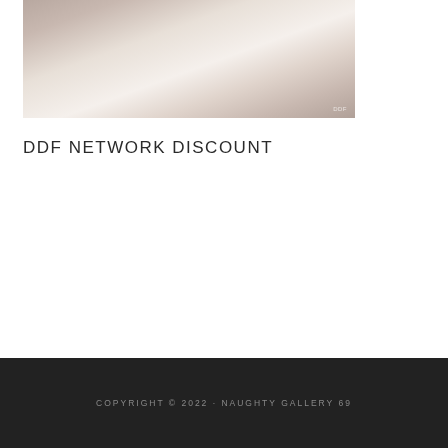[Figure (photo): Two people on a bed with white sheets, bedroom scene]
DDF NETWORK DISCOUNT
COPYRIGHT © 2022 · NAUGHTY GALLERY 69